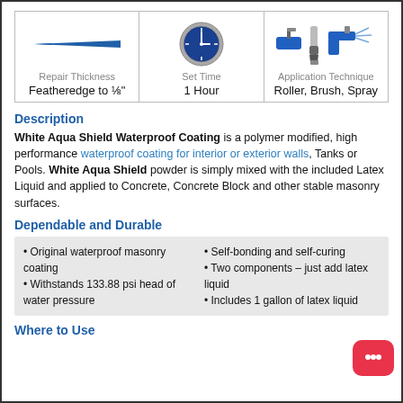[Figure (infographic): Three-cell table with icons: a featheredge line for Repair Thickness, a clock for Set Time, and roller/brush/spray tools for Application Technique]
Description
White Aqua Shield Waterproof Coating is a polymer modified, high performance waterproof coating for interior or exterior walls, Tanks or Pools. White Aqua Shield powder is simply mixed with the included Latex Liquid and applied to Concrete, Concrete Block and other stable masonry surfaces.
Dependable and Durable
Original waterproof masonry coating
Withstands 133.88 psi head of water pressure
Self-bonding and self-curing
Two components – just add latex liquid
Includes 1 gallon of latex liquid
Where to Use